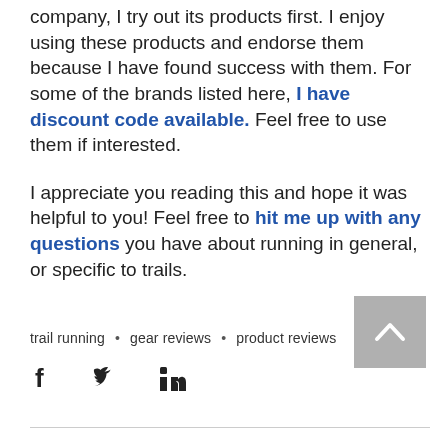company, I try out its products first. I enjoy using these products and endorse them because I have found success with them. For some of the brands listed here, I have discount code available. Feel free to use them if interested.
I appreciate you reading this and hope it was helpful to you! Feel free to hit me up with any questions you have about running in general, or specific to trails.
trail running • gear reviews • product reviews